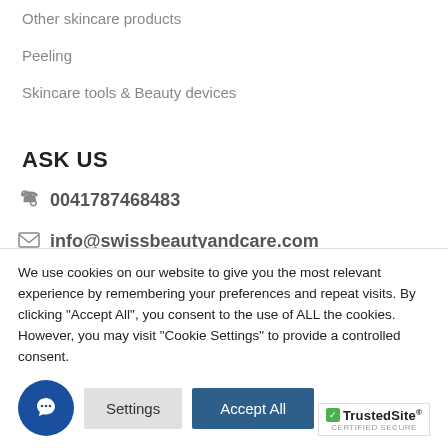Other skincare products
Peeling
Skincare tools & Beauty devices
ASK US
0041787468483
info@swissbeautyandcare.com
We use cookies on our website to give you the most relevant experience by remembering your preferences and repeat visits. By clicking "Accept All", you consent to the use of ALL the cookies. However, you may visit "Cookie Settings" to provide a controlled consent.
Settings
Accept All